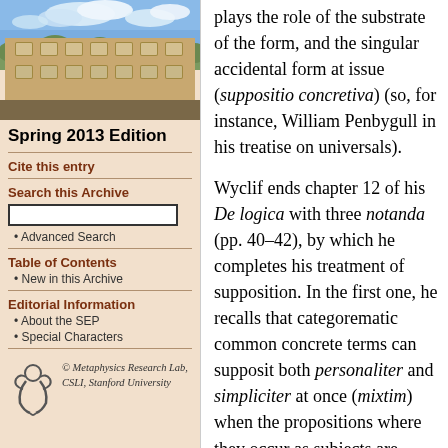[Figure (photo): Photo of a historic university building (sandstone Gothic Revival architecture) against a blue sky with clouds]
Spring 2013 Edition
Cite this entry
Search this Archive
Advanced Search
Table of Contents
New in this Archive
Editorial Information
About the SEP
Special Characters
[Figure (logo): Metaphysics Research Lab, CSLI, Stanford University logo with stylized figure]
plays the role of the substrate of the form, and the singular accidental form at issue (suppositio concretiva) (so, for instance, William Penbygull in his treatise on universals).
Wyclif ends chapter 12 of his De logica with three notanda (pp. 40–42), by which he completes his treatment of supposition. In the first one, he recalls that categorematic common concrete terms can supposit both personaliter and simpliciter at once (mixtim) when the propositions where they occur as subjects are universal affirmative or indefinite. For instance, the